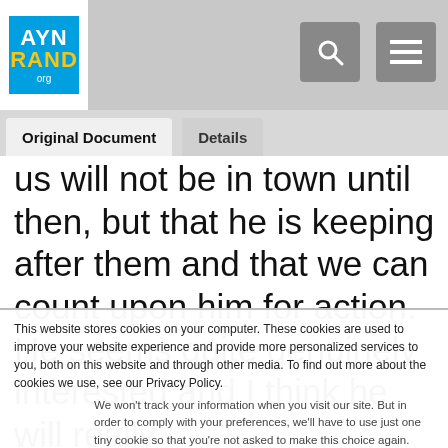AYN RAND org
Original Document   Details
us will not be in town until then, but that he is keeping after them and that we can count upon him for action. He seems quite genuinely interested and I think he will really
This website stores cookies on your computer. These cookies are used to improve your website experience and provide more personalized services to you, both on this website and through other media. To find out more about the cookies we use, see our Privacy Policy.
We won't track your information when you visit our site. But in order to comply with your preferences, we'll have to use just one tiny cookie so that you're not asked to make this choice again.
Accept   Decline